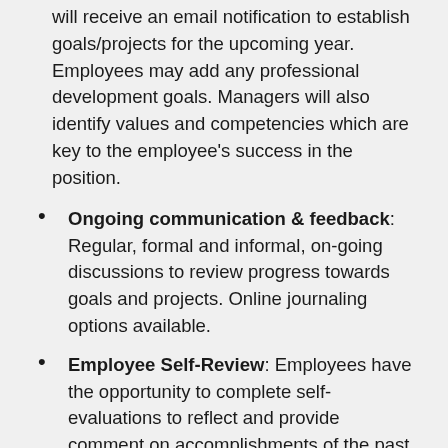will receive an email notification to establish goals/projects for the upcoming year. Employees may add any professional development goals. Managers will also identify values and competencies which are key to the employee's success in the position.
Ongoing communication & feedback: Regular, formal and informal, on-going discussions to review progress towards goals and projects. Online journaling options available.
Employee Self-Review: Employees have the opportunity to complete self-evaluations to reflect and provide comment on accomplishments of the past year.
Annual Evaluation: Managers write the annual evaluation for each direct report and meet to discuss the employee's performance. Final evaluations is acknowledged and the process is complete.